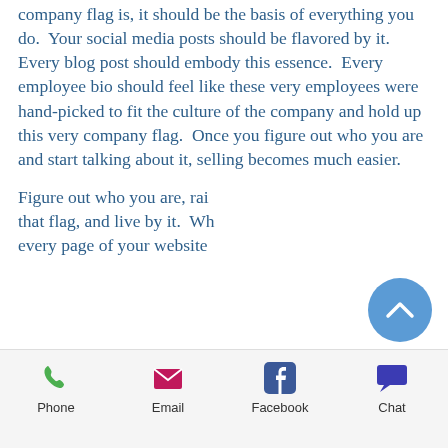company flag is, it should be the basis of everything you do.  Your social media posts should be flavored by it.  Every blog post should embody this essence.  Every employee bio should feel like these very employees were hand-picked to fit the culture of the company and hold up this very company flag.  Once you figure out who you are and start talking about it, selling becomes much easier.
Figure out who you are, raise that flag, and live by it.  With every page of your website
[Figure (other): Blue circular scroll-to-top button with a white upward chevron arrow]
Phone | Email | Facebook | Chat